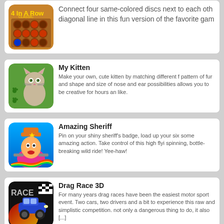[Figure (screenshot): App listing card for '4 In A Row Classic' showing game icon and partial description text]
[Figure (screenshot): App listing card for 'My Kitten' showing a cute cartoon kitten icon and description]
[Figure (screenshot): App listing card for 'Amazing Sheriff' showing a cartoon sheriff character icon and description]
[Figure (screenshot): App listing card for 'Drag Race 3D' showing a racing car icon and description]
[Figure (screenshot): Partial app listing card for 'Emily's Home Sweet Home' at bottom of page]